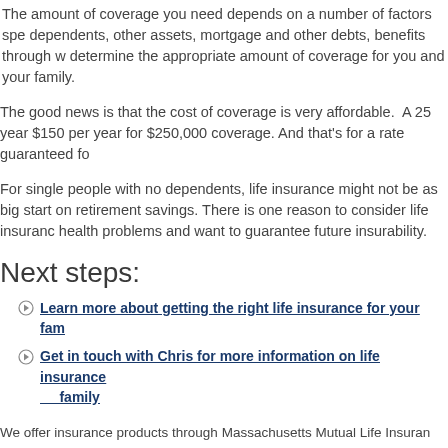The amount of coverage you need depends on a number of factors spe dependents, other assets, mortgage and other debts, benefits through w determine the appropriate amount of coverage for you and your family.
The good news is that the cost of coverage is very affordable. A 25 year $150 per year for $250,000 coverage. And that's for a rate guaranteed fo
For single people with no dependents, life insurance might not be as big start on retirement savings. There is one reason to consider life insuranc health problems and want to guarantee future insurability.
Next steps:
Learn more about getting the right life insurance for your fam
Get in touch with Chris for more information on life insurance family
We offer insurance products through Massachusetts Mutual Life Insuran 01111-0001, and other companies.